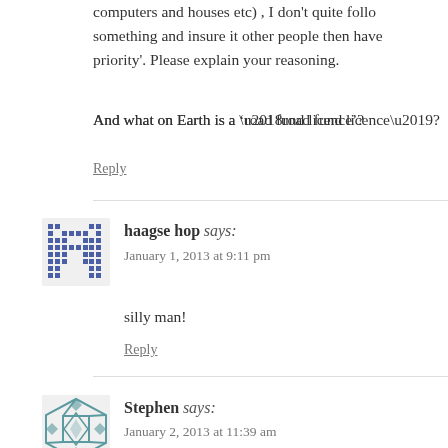computers and houses etc) , I don't quite follow something and insure it other people then have priority'. Please explain your reasoning.
And what on Earth is a ‘road fund licence’?
Reply
haagse hop says: January 1, 2013 at 9:11 pm
silly man!
Reply
Stephen says: January 2, 2013 at 11:39 am
I certainly did not intend to judge any persons political